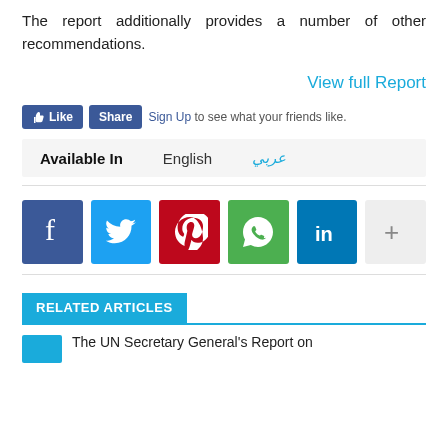The report additionally provides a number of other recommendations.
View full Report
Sign Up to see what your friends like.
Available In   English   عربي
[Figure (other): Social media share icons: Facebook, Twitter, Pinterest, WhatsApp, LinkedIn, More (+)]
RELATED ARTICLES
The UN Secretary General's Report on